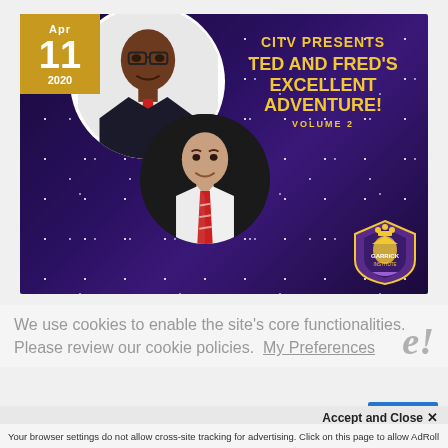[Figure (illustration): Event banner for 'CITV Presents Ted and Fred's Excellent Adventure! Volume 2' dated April 11, 2020. Dark purple starfield background with two circular portrait photos of men, a gold date box in top-left corner, yellow bold text for the event title, and a shield/crest logo in bottom-right.]
We use cookies to enable the site's core functionalities. Please review our cookie policies. My Preferences
Accept and Close ✕
Your browser settings do not allow cross-site tracking for advertising. Click on this page to allow AdRoll to use cross-site tracking to tailor ads to you. Learn more or opt out of this AdRoll tracking by clicking here. This message only appears once.